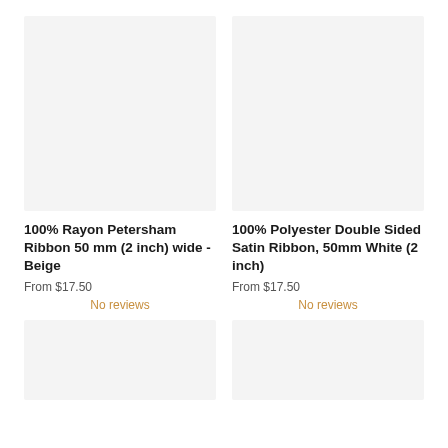[Figure (photo): Product image placeholder for 100% Rayon Petersham Ribbon 50mm Beige, light gray background]
[Figure (photo): Product image placeholder for 100% Polyester Double Sided Satin Ribbon 50mm White, light gray background]
100% Rayon Petersham Ribbon 50 mm (2 inch) wide - Beige
From $17.50
No reviews
100% Polyester Double Sided Satin Ribbon, 50mm White (2 inch)
From $17.50
No reviews
[Figure (photo): Product image placeholder bottom left, light gray background]
[Figure (photo): Product image placeholder bottom right, light gray background]